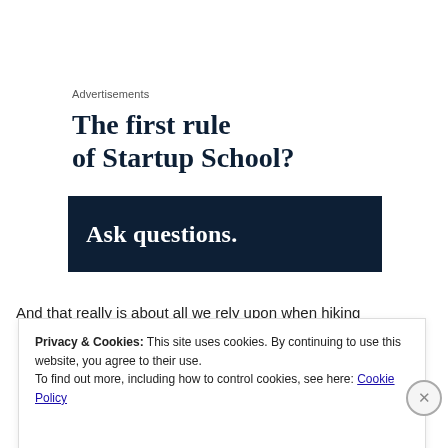Advertisements
The first rule of Startup School?
[Figure (other): Dark navy blue banner with white bold text reading 'Ask questions.']
And that really is about all we rely upon when hiking
Privacy & Cookies: This site uses cookies. By continuing to use this website, you agree to their use.
To find out more, including how to control cookies, see here: Cookie Policy
Close and accept